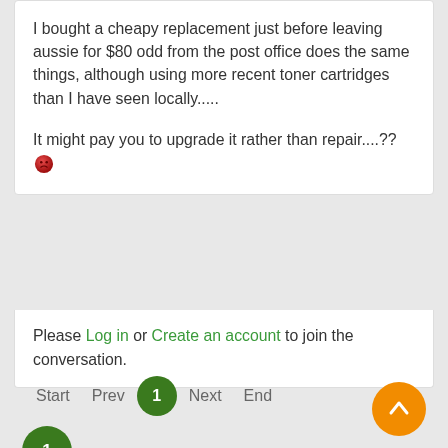I bought a cheapy replacement just before leaving aussie for $80 odd from the post office does the same things, although using more recent toner cartridges than I have seen locally.....
It might pay you to upgrade it rather than repair....??
Please Log in or Create an account to join the conversation.
Start  Prev  1  Next  End